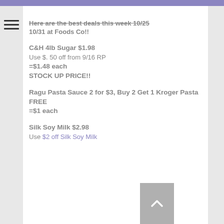Here are the best deals this week 10/25 10/31 at Foods Co!!
C&H 4lb Sugar $1.98
Use $. 50 off from 9/16 RP
=$1.48 each
STOCK UP PRICE!!
Ragu Pasta Sauce 2 for $3, Buy 2 Get 1 Kroger Pasta FREE
=$1 each
Silk Soy Milk $2.98
Use $2 off Silk Soy Milk